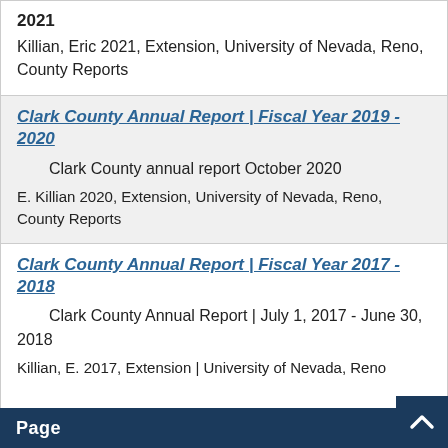2021
Killian, Eric 2021, Extension, University of Nevada, Reno, County Reports
Clark County Annual Report | Fiscal Year 2019 - 2020
Clark County annual report October 2020
E. Killian 2020, Extension, University of Nevada, Reno, County Reports
Clark County Annual Report | Fiscal Year 2017 - 2018
Clark County Annual Report | July 1, 2017 - June 30, 2018
Killian, E. 2017, Extension | University of Nevada, Reno
Page